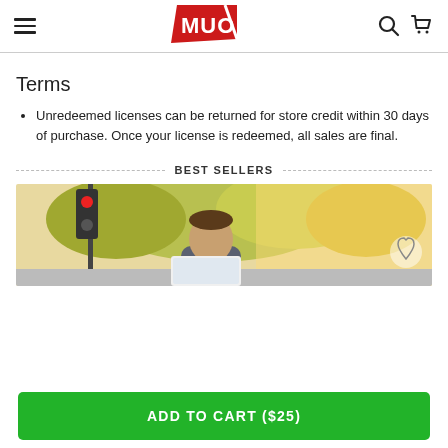MUO header with hamburger menu, logo, search and cart icons
Terms
Unredeemed licenses can be returned for store credit within 30 days of purchase. Once your license is redeemed, all sales are final.
BEST SELLERS
[Figure (photo): Photo of a man outdoors looking at a laptop or device, with trees and a traffic light in the background, warm sunlight.]
ADD TO CART ($25)